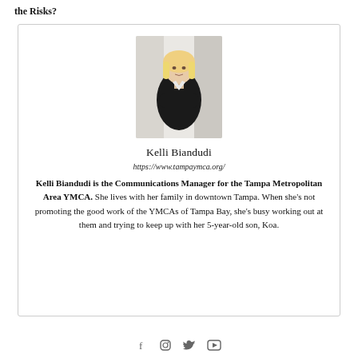the Risks?
[Figure (photo): Professional headshot of Kelli Biandudi, a blonde woman in black clothing with arms crossed, standing in front of a light-colored exterior]
Kelli Biandudi
https://www.tampaymca.org/
Kelli Biandudi is the Communications Manager for the Tampa Metropolitan Area YMCA. She lives with her family in downtown Tampa. When she’s not promoting the good work of the YMCAs of Tampa Bay, she’s busy working out at them and trying to keep up with her 5-year-old son, Koa.
Social icons: Facebook, Instagram, Twitter, YouTube